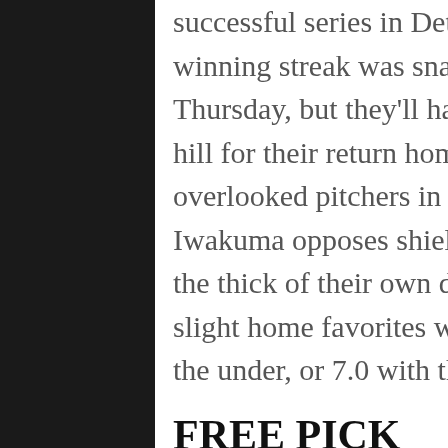successful series in Detroit. Kansas City's 10-game winning streak was snapped with a tough 2-1 loss on Thursday, but they'll have their ace James Shields on the hill for their return home against one of the more overlooked pitchers in the American League. Hisashi Iwakuma opposes shields for the Mariners, who are in the thick of their own divisional race too. The Royals are slight home favorites with a total of 7.5 with the juice on the under, or 7.0 with the shorter odds going over.
FREE PICK
People aren't quick to recall the third place finisher in the AL Cy Young award last season. But that would be Seattle right-hander Hisashi Iwakuma. The tall, lanky, 33-year-old from Japan put together a